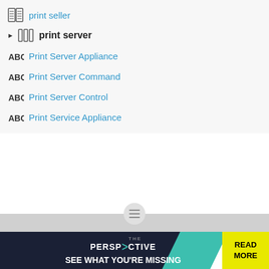print seller
print server
Print Server Appliance
Print Server Command
Print Server Control
Print Service Appliance
[Figure (screenshot): Advertisement banner: The Perspective - SEE WHAT YOU'RE MISSING - READ MORE]
[Figure (other): Hamburger menu button icon in circular gray button on bottom navigation bar]